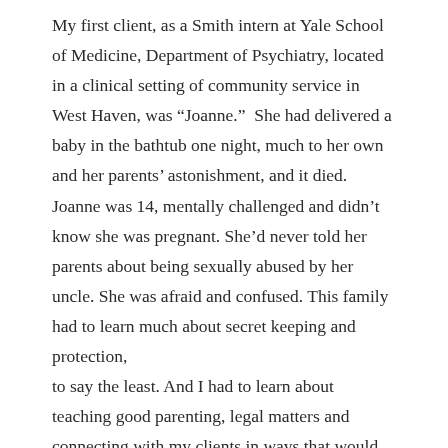My first client, as a Smith intern at Yale School of Medicine, Department of Psychiatry, located in a clinical setting of community service in West Haven, was “Joanne.”  She had delivered a baby in the bathtub one night, much to her own and her parents’ astonishment, and it died. Joanne was 14, mentally challenged and didn’t know she was pregnant. She’d never told her parents about being sexually abused by her uncle. She was afraid and confused. This family had to learn much about secret keeping and protection,
to say the least. And I had to learn about teaching good parenting, legal matters and connecting with my clients in ways that would help them help each other.
The academic year passed and my field placement was over and I accepted a dinner invitation from Joanne’s family. It was their gracious thank you. They had stayed